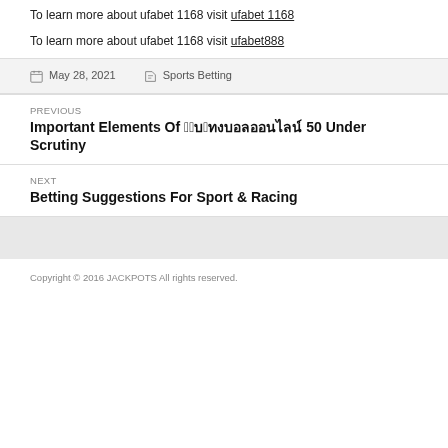To learn more about ufabet 1168 visit ufabet 1168
To learn more about ufabet 1168 visit ufabet888
May 28, 2021   Sports Betting
PREVIOUS
Important Elements Of เว็บแทงบอลออนไลน์ 50 Under Scrutiny
NEXT
Betting Suggestions For Sport & Racing
Copyright © 2016 JACKPOTS All rights reserved.